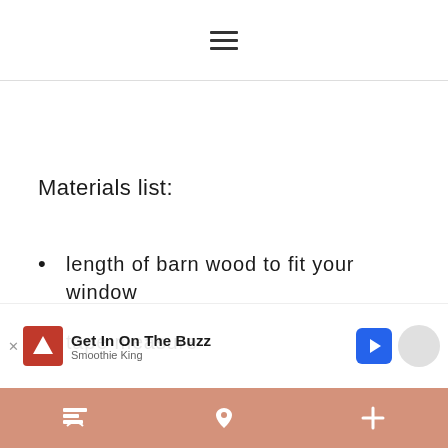≡
Materials list:
length of barn wood to fit your window
tape measure